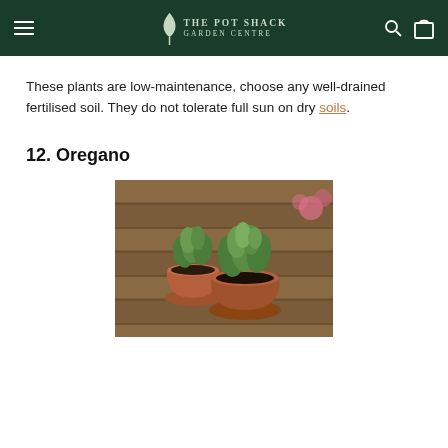THE POT SHACK GARDEN CENTRE
These plants are low-maintenance, choose any well-drained fertilised soil. They do not tolerate full sun on dry soils.
12. Oregano
[Figure (photo): Two terracotta pots with oregano plants on a wooden deck surface, with pink flowers visible in the background]